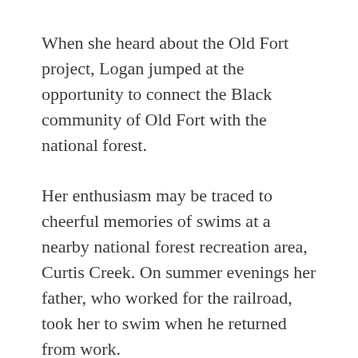When she heard about the Old Fort project, Logan jumped at the opportunity to connect the Black community of Old Fort with the national forest.
Her enthusiasm may be traced to cheerful memories of swims at a nearby national forest recreation area, Curtis Creek. On summer evenings her father, who worked for the railroad, took her to swim when he returned from work.
Logan is committed to the idea that her community can take advantage of the business opportunities a trail town can